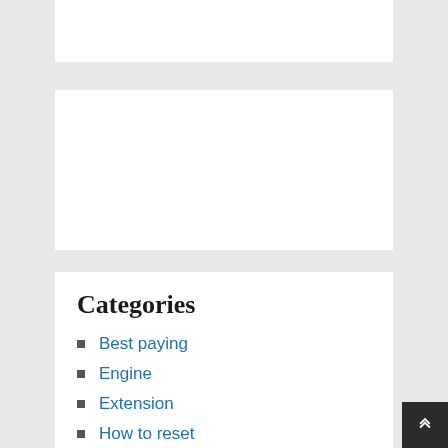[Figure (other): White content card partially visible at top of page (cropped)]
[Figure (other): White content card in middle of page (empty/ad placeholder)]
Categories
Best paying
Engine
Extension
How to reset
Toplist
Uncategorized